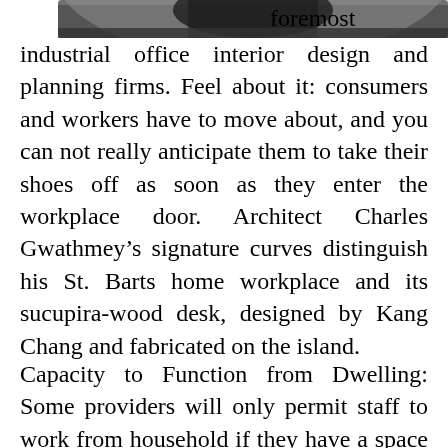[Figure (photo): Partial view of a circular black and white object (appears to be a hat or similar item), top portion of image cropped at page edge]
foremost industrial office interior design and planning firms. Feel about it: consumers and workers have to move about, and you can not really anticipate them to take their shoes off as soon as they enter the workplace door. Architect Charles Gwathmey’s signature curves distinguish his St. Barts home workplace and its sucupira-wood desk, designed by Kang Chang and fabricated on the island.

Capacity to Function from Dwelling: Some providers will only permit staff to work from household if they have a space designated as a